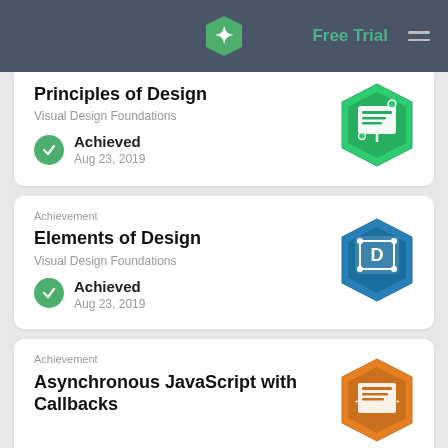Free Trial
Principles of Design
Visual Design Foundations
Achieved
Aug 23, 2019
[Figure (logo): Green hexagon badge with presentation board icon]
Achievement
Elements of Design
Visual Design Foundations
Achieved
Aug 23, 2019
[Figure (logo): Blue hexagon badge with letter D design icon]
Achievement
Asynchronous JavaScript with Callbacks
[Figure (logo): Orange hexagon badge with arrows and document icon]